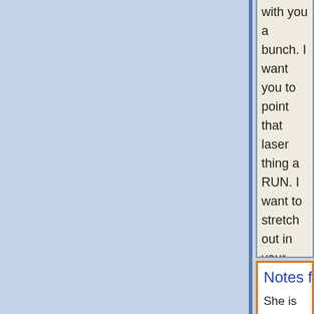with you a bunch. I want you to point that laser thing a RUN. I want to stretch out in your bed and not bump anything else remotely feline. But more than anything go home...
Notes from Home
She is doing so well!!! She is right at home and follows gets all of her running around out of the way:-), she cu cat!!!
Whiskey (her name after adoption) is doing well and d to interact with her new uncles and aunt (my parents' playmate :-)
(Last update: Apr 7th, 2016 9am)
Adopted!